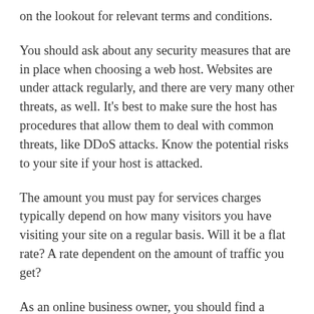on the lookout for relevant terms and conditions.
You should ask about any security measures that are in place when choosing a web host. Websites are under attack regularly, and there are very many other threats, as well. It’s best to make sure the host has procedures that allow them to deal with common threats, like DDoS attacks. Know the potential risks to your site if your host is attacked.
The amount you must pay for services charges typically depend on how many visitors you have visiting your site on a regular basis. Will it be a flat rate? A rate dependent on the amount of traffic you get?
As an online business owner, you should find a hosting service that corresponds to your website. You will find a wide range of prices, and in a lot of cases the most expensive rates do not correspond to the best packages. Don’t pay for levels of service that are beyond your requirements.